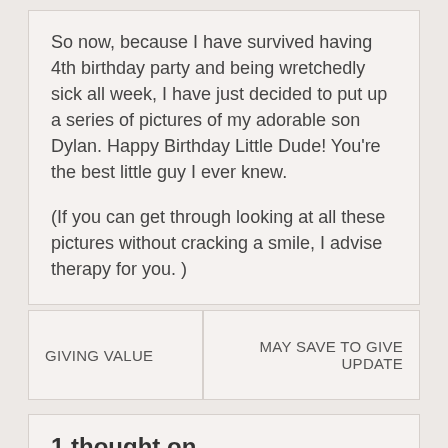So now, because I have survived having 4th birthday party and being wretchedly sick all week, I have just decided to put up a series of pictures of my adorable son Dylan. Happy Birthday Little Dude! You're the best little guy I ever knew.

(If you can get through looking at all these pictures without cracking a smile, I advise therapy for you. )
GIVING VALUE
MAY SAVE TO GIVE UPDATE
1 thought on